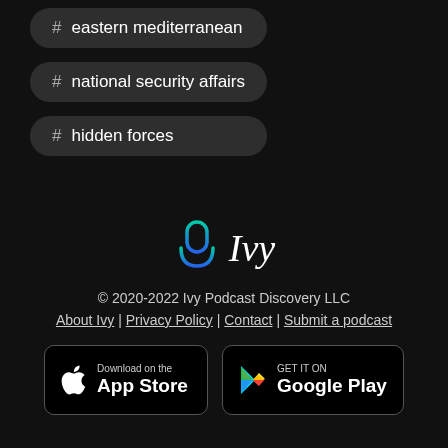# eastern mediterranean
# national security affairs
# hidden forces
[Figure (logo): Ivy Podcast Discovery logo with a microphone icon in teal/green gradient and the word 'Ivy' in italic serif font]
© 2020-2022 Ivy Podcast Discovery LLC
About Ivy | Privacy Policy | Contact | Submit a podcast
[Figure (other): Download on the App Store button (Apple)]
[Figure (other): GET IT ON Google Play button (Google)]